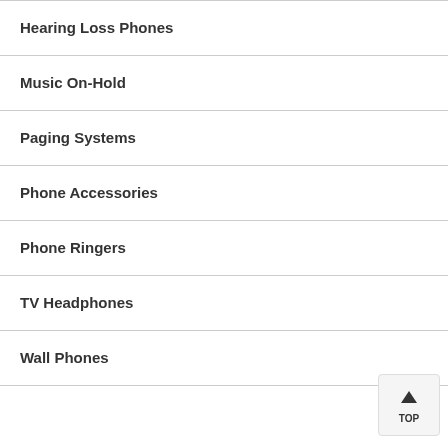Hearing Loss Phones
Music On-Hold
Paging Systems
Phone Accessories
Phone Ringers
TV Headphones
Wall Phones